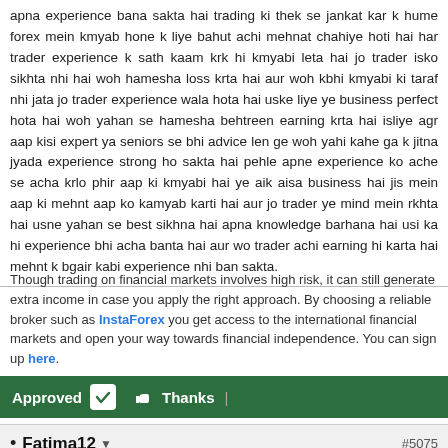apna experience bana sakta hai trading ki thek se jankat kar k hume forex mein kmyab hone k liye bahut achi mehnat chahiye hoti hai har trader experience k sath kaam krk hi kmyabi leta hai jo trader isko sikhta nhi hai woh hamesha loss krta hai aur woh kbhi kmyabi ki taraf nhi jata jo trader experience wala hota hai uske liye ye business perfect hota hai woh yahan se hamesha behtreen earning krta hai isliye agr aap kisi expert ya seniors se bhi advice len ge woh yahi kahe ga k jitna jyada experience strong ho sakta hai pehle apne experience ko ache se acha krlo phir aap ki kmyabi hai ye aik aisa business hai jis mein aap ki mehnt aap ko kamyab karti hai aur jo trader ye mind mein rkhta hai usne yahan se best sikhna hai apna knowledge barhana hai usi ka hi experience bhi acha banta hai aur wo trader achi earning hi karta hai mehnt k bgair kabi experience nhi ban sakta.
Though trading on financial markets involves high risk, it can still generate extra income in case you apply the right approach. By choosing a reliable broker such as InstaForex you get access to the international financial markets and open your way towards financial independence. You can sign up here.
Approved  Thanks |
• Fatima12  #5075